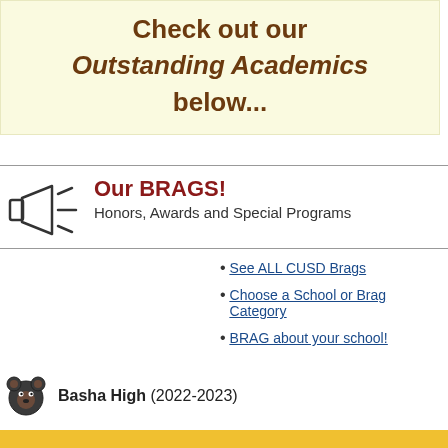Check out our Outstanding Academics below...
Our BRAGS! Honors, Awards and Special Programs
See ALL CUSD Brags
Choose a School or Brag Category
BRAG about your school!
Basha High (2022-2023)